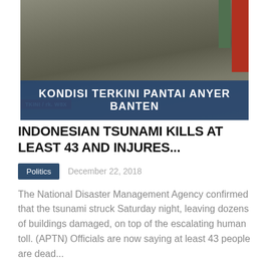[Figure (screenshot): News broadcast screenshot showing debris and damaged buildings. A red banner in the top-left reads 'TKINI / rk. W8X'. A dark blue lower-third banner reads 'KONDISI TERKINI PANTAI ANYER BANTEN' in white bold uppercase text.]
INDONESIAN TSUNAMI KILLS AT LEAST 43 AND INJURES...
Politics   December 22, 2018
The National Disaster Management Agency confirmed that the tsunami struck Saturday night, leaving dozens of buildings damaged, on top of the escalating human toll. (APTN) Officials are now saying at least 43 people are dead...